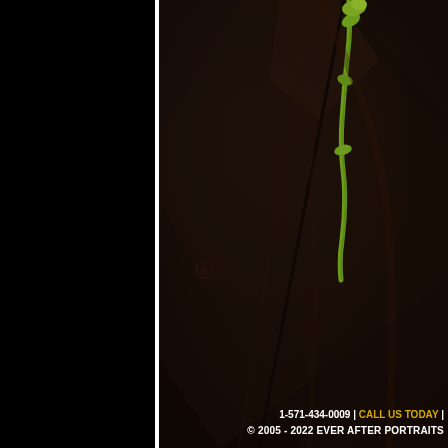[Figure (photo): Close-up photograph of a dark brown/black suit jacket lapel with a green boutonniere (flower stem). The left portion of the image is a solid black panel with a white vertical divider line separating it from the main photo. The photo shows the textured fabric of the suit in detail.]
1-571-434-0009 | CALL US TODAY | © 2005 - 2022 EVER AFTER PORTRAITS